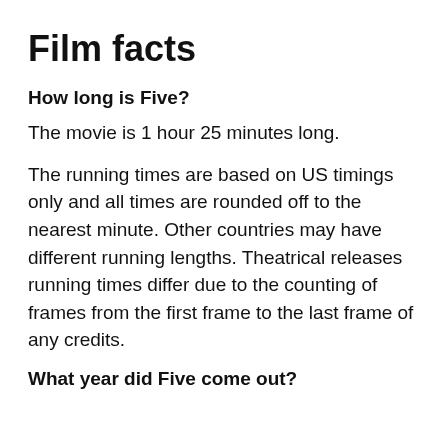Film facts
How long is Five?
The movie is 1 hour 25 minutes long.
The running times are based on US timings only and all times are rounded off to the nearest minute. Other countries may have different running lengths. Theatrical releases running times differ due to the counting of frames from the first frame to the last frame of any credits.
What year did Five come out?